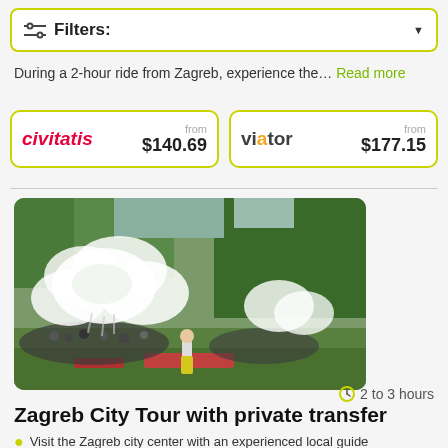Filters:
During a 2-hour ride from Zagreb, experience the… Head more
civitatis  from $140.69
viator  from $177.15
[Figure (photo): Outdoor park scene with large white inflatable jellyfish-like sculptures floating above a crowd of people on grass, with trees in background]
Zagreb City Tour with private transfer
2 to 3 hours
Visit the Zagreb city center with an experienced local guide